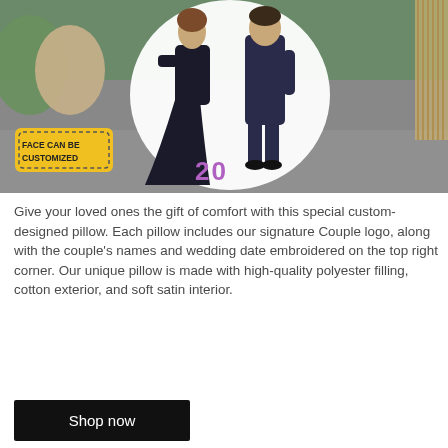[Figure (photo): A custom couple cutout pillow/standee showing an illustrated couple dancing (woman in black gown, man in dark suit) with '20' in purple text at their feet. The cutout is placed on a grey sofa with green and tan cushions and fringe throw. A yellow badge reads 'FACE CAN BE CUSTOMIZED'.]
Give your loved ones the gift of comfort with this special custom-designed pillow. Each pillow includes our signature Couple logo, along with the couple's names and wedding date embroidered on the top right corner. Our unique pillow is made with high-quality polyester filling, cotton exterior, and soft satin interior.
Shop now